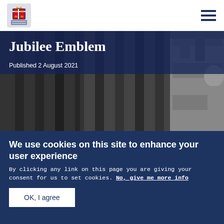UK Government crest logo with hamburger menu
Jubilee Emblem
Published 2 August 2021
[Figure (photo): Black and white photograph of a classical government building with stone columns, and a partial view of a statue or figure on the right edge]
We use cookies on this site to enhance your user experience
By clicking any link on this page you are giving your consent for us to set cookies. No, give me more info
OK, I agree